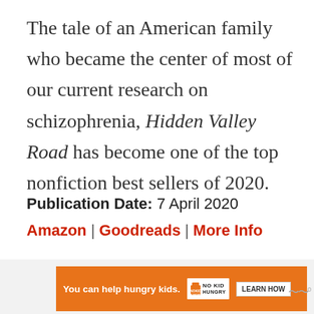The tale of an American family who became the center of most of our current research on schizophrenia, Hidden Valley Road has become one of the top nonfiction best sellers of 2020.
Publication Date: 7 April 2020
Amazon | Goodreads | More Info
[Figure (other): Orange advertisement banner: 'You can help hungry kids.' with No Kid Hungry logo and 'LEARN HOW' button, with a close (X) button at top right and a wavy logo icon at far right.]